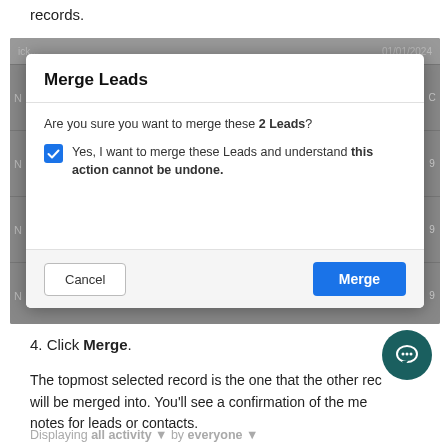records.
[Figure (screenshot): A modal dialog titled 'Merge Leads' asking 'Are you sure you want to merge these 2 Leads?' with a checked checkbox stating 'Yes, I want to merge these Leads and understand this action cannot be undone.' and Cancel / Merge buttons at the bottom, overlaid on a greyed-out background table.]
4. Click Merge.
The topmost selected record is the one that the other record(s) will be merged into. You'll see a confirmation of the merge in notes for leads or contacts.
Displaying all activity ▼ by everyone ▼